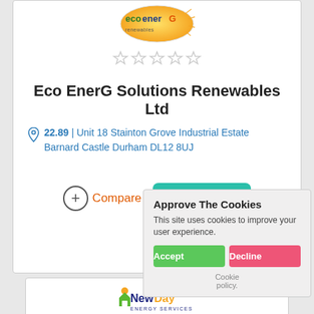[Figure (logo): Eco EnerG Solutions Renewables Ltd logo - oval shaped with green and orange text on gradient background]
[Figure (other): Five empty/grey star rating icons]
Eco EnerG Solutions Renewables Ltd
22.89 | Unit 18 Stainton Grove Industrial Estate Barnard Castle Durham DL12 8UJ
[Figure (other): Compare button with plus circle icon and Get a Quote teal button]
[Figure (logo): NewDay Energy Services logo with house icon]
Approve The Cookies
This site uses cookies to improve your user experience.
Accept | Decline
Cookie policy.